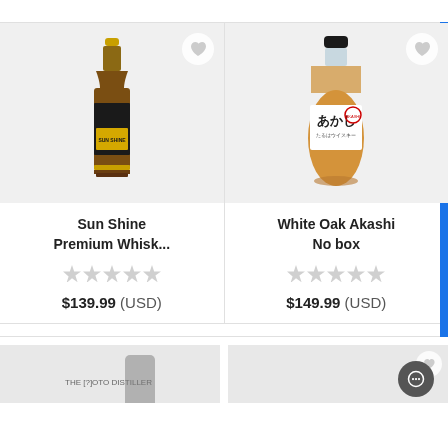[Figure (photo): Sun Shine Premium Whisky bottle on grey background with heart/wishlist icon]
Sun Shine Premium Whisk...
$139.99 (USD)
[Figure (photo): White Oak Akashi Japanese whisky bottle with Japanese label on grey background with heart/wishlist icon]
White Oak Akashi No box
$149.99 (USD)
[Figure (photo): Partial view of a whisky bottle - bottom of page, left card]
[Figure (photo): Partial view of another product - bottom of page, right card]